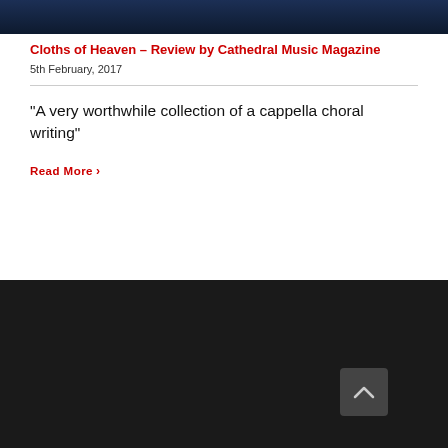[Figure (photo): Dark blue/navy banner image at the top of the page]
Cloths of Heaven – Review by Cathedral Music Magazine
5th February, 2017
“A very worthwhile collection of a cappella choral writing”
Read More >
Dark footer area with back-to-top button